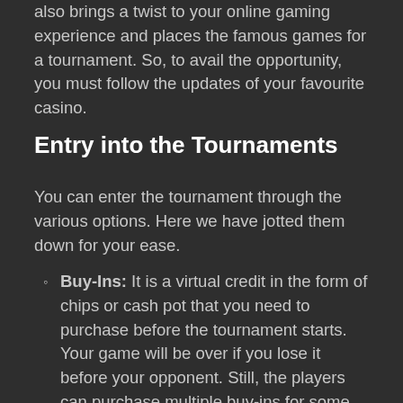the novelty and keeps introducing unique features also brings a twist to your online gaming experience and places the famous games for a tournament. So, to avail the opportunity, you must follow the updates of your favourite casino.
Entry into the Tournaments
You can enter the tournament through the various options. Here we have jotted them down for your ease.
Buy-Ins: It is a virtual credit in the form of chips or cash pot that you need to purchase before the tournament starts. Your game will be over if you lose it before your opponent. Still, the players can purchase multiple buy-ins for some tournaments, and with that, you are allowed to return to your gameplay after you